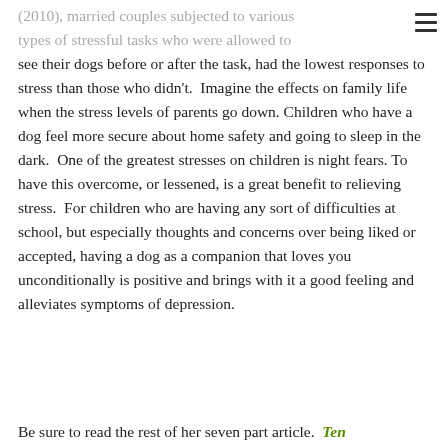≡
(2010), married couples subjected to various types of stressful tasks who were allowed to see their dogs before or after the task, had the lowest responses to stress than those who didn't.  Imagine the effects on family life when the stress levels of parents go down. Children who have a dog feel more secure about home safety and going to sleep in the dark.  One of the greatest stresses on children is night fears.  To have this overcome, or lessened, is a great benefit to relieving stress.  For children who are having any sort of difficulties at school, but especially thoughts and concerns over being liked or accepted, having a dog as a companion that loves you unconditionally is positive and brings with it a good feeling and alleviates symptoms of depression.
Be sure to read the rest of her seven part article.  Ten